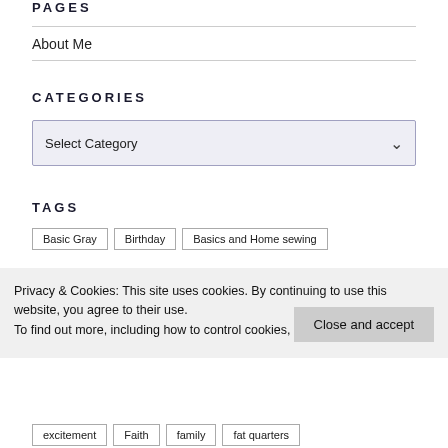PAGES
About Me
CATEGORIES
[Figure (screenshot): A dropdown select box showing 'Select Category' with a chevron arrow on the right]
TAGS
Basic Gray
Birthday
Basics and Home sewing
Privacy & Cookies: This site uses cookies. By continuing to use this website, you agree to their use.
To find out more, including how to control cookies, see here: Cookie Policy
excitement
Faith
family
fat quarters